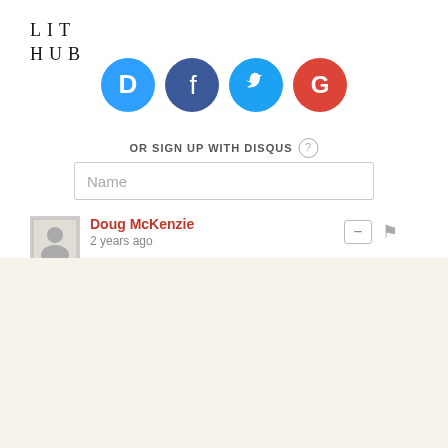LIT HUB
[Figure (screenshot): Social login icons: Disqus (blue speech bubble with D), Facebook (dark blue circle with f), Twitter (light blue circle with bird), Google (red circle with G)]
OR SIGN UP WITH DISQUS ?
Name
Doug McKenzie
2 years ago
The Best of the Literary Internet, Every Day.
Top literature stories from over 200 sources.
SUBSCRIBE